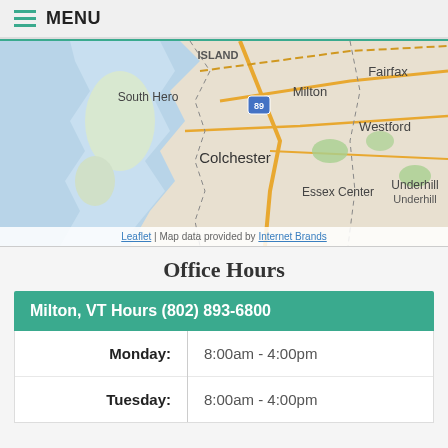MENU
[Figure (map): Street/region map showing South Hero, Milton, Fairfax, Westford, Colchester, Essex Center, Underhill area in Vermont. Blue water (Lake Champlain) on left, road network visible. Attribution: Leaflet | Map data provided by Internet Brands]
Office Hours
Milton, VT Hours (802) 893-6800
| Day | Hours |
| --- | --- |
| Monday: | 8:00am - 4:00pm |
| Tuesday: | 8:00am - 4:00pm |